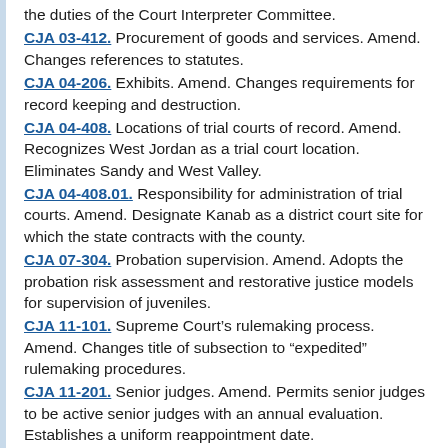the duties of the Court Interpreter Committee.
CJA 03-412. Procurement of goods and services. Amend. Changes references to statutes.
CJA 04-206. Exhibits. Amend. Changes requirements for record keeping and destruction.
CJA 04-408. Locations of trial courts of record. Amend. Recognizes West Jordan as a trial court location. Eliminates Sandy and West Valley.
CJA 04-408.01. Responsibility for administration of trial courts. Amend. Designate Kanab as a district court site for which the state contracts with the county.
CJA 07-304. Probation supervision. Amend. Adopts the probation risk assessment and restorative justice models for supervision of juveniles.
CJA 11-101. Supreme Court’s rulemaking process. Amend. Changes title of subsection to “expedited” rulemaking procedures.
CJA 11-201. Senior judges. Amend. Permits senior judges to be active senior judges with an annual evaluation. Establishes a uniform reappointment date.